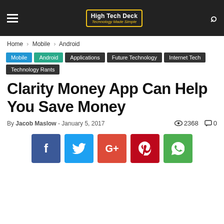High Tech Deck — Technology Made Simple
Home › Mobile › Android
Mobile | Android | Applications | Future Technology | Internet Tech | Technology Rants
Clarity Money App Can Help You Save Money
By Jacob Maslow - January 5, 2017  👁 2368  💬 0
[Figure (other): Social sharing buttons: Facebook, Twitter, Google+, Pinterest, WhatsApp]